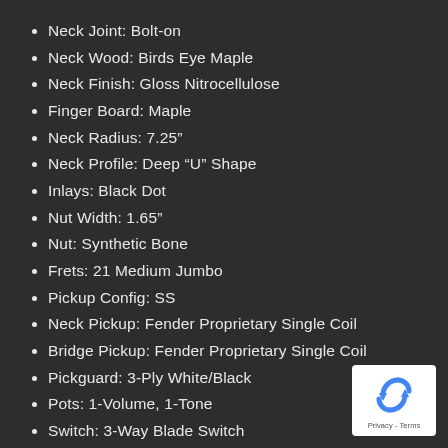Neck Joint: Bolt-on
Neck Wood: Birds Eye Maple
Neck Finish: Gloss Nitrocellulose
Finger Board: Maple
Neck Radius: 7.25"
Neck Profile: Deep “U” Shape
Inlays: Black Dot
Nut Width: 1.65"
Nut: Synthetic Bone
Frets: 21 Medium Jumbo
Pickup Config: SS
Neck Pickup: Fender Proprietary Single Coil
Bridge Pickup: Fender Proprietary Single Coil
Pickguard: 3-Ply White/Black
Pots: 1-Volume, 1-Tone
Switch: 3-Way Blade Switch
Hardware: Nickel
Tuning Machines: Fender Vintage Style with Oval
[Figure (logo): Google reCAPTCHA badge with recycling-arrow logo and Privacy - Terms text]